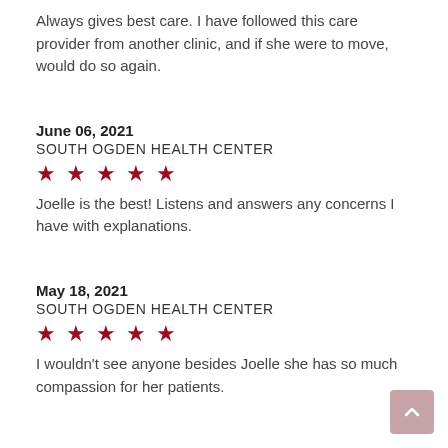Always gives best care. I have followed this care provider from another clinic, and if she were to move, would do so again.
June 06, 2021
SOUTH OGDEN HEALTH CENTER
[Figure (other): Five red stars rating]
Joelle is the best! Listens and answers any concerns I have with explanations.
May 18, 2021
SOUTH OGDEN HEALTH CENTER
[Figure (other): Five red stars rating]
I wouldn't see anyone besides Joelle she has so much compassion for her patients.